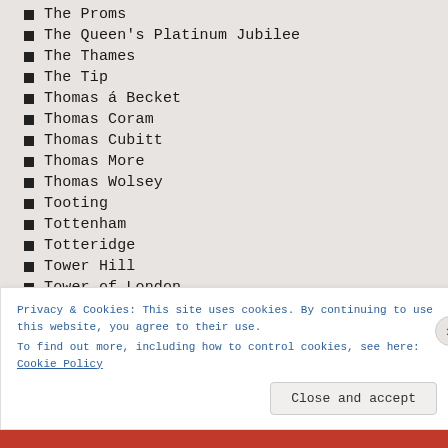The Proms
The Queen's Platinum Jubilee
The Thames
The Tip
Thomas á Becket
Thomas Coram
Thomas Cubitt
Thomas More
Thomas Wolsey
Tooting
Tottenham
Totteridge
Tower Hill
Tower of London
Privacy & Cookies: This site uses cookies. By continuing to use this website, you agree to their use. To find out more, including how to control cookies, see here: Cookie Policy